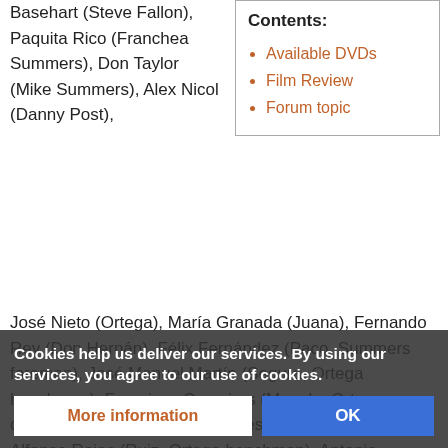Basehart (Steve Fallon), Paquita Rico (Franchea Summers), Don Taylor (Mike Summers), Alex Nicol (Danny Post),
Contents: Available DVDs, Film Review, Forum topic
José Nieto (Ortega), María Granada (Juana), Fernando Rey (Don Hernán), Félix Fernández (Paco, Summers foreman), José Manuel Martín (Segura, Ortega henchman), Francisco Camoiras (Manolo, Ortega driver), Rafael Albaicín (Gonzales, Ortega henchman), Alfonso Rojas (Ruiz, Ortega henchman), Antonio Fuentes (Captain Baez), Pilar Caballero (Lupe, Sanchez's wife), Víctor Bayo (Miguel Sanchez), Xan das Bolas (Pedro, cantina proprietor), Sergio Mendizábal (alcalde mayor), Rafael Vaquero (... Manolita Romero, Víctor...)
Cookies help us deliver our services. By using our services, you agree to our use of cookies.